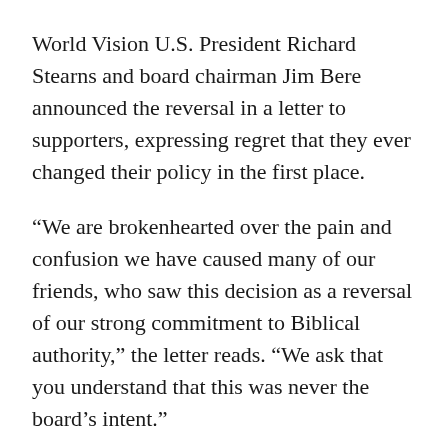World Vision U.S. President Richard Stearns and board chairman Jim Bere announced the reversal in a letter to supporters, expressing regret that they ever changed their policy in the first place.
“We are brokenhearted over the pain and confusion we have caused many of our friends, who saw this decision as a reversal of our strong commitment to Biblical authority,” the letter reads. “We ask that you understand that this was never the board’s intent.”
“The board acknowledged they made a mistake